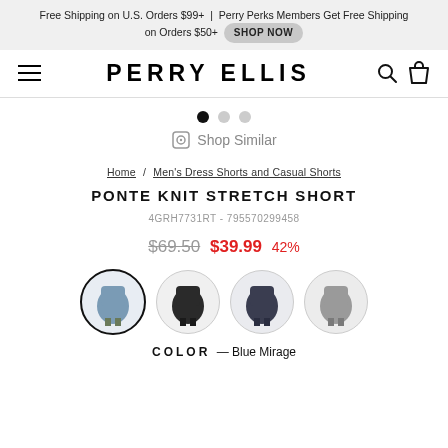Free Shipping on U.S. Orders $99+ | Perry Perks Members Get Free Shipping on Orders $50+ SHOP NOW
[Figure (logo): Perry Ellis logo with hamburger menu, search icon, and cart icon]
[Figure (infographic): Carousel dots (1 filled, 2 empty) and Shop Similar icon with text]
Home / Men's Dress Shorts and Casual Shorts
PONTE KNIT STRETCH SHORT
4GRH7731RT - 795570299458
$69.50 $39.99 42%
[Figure (photo): Four color swatches showing shorts in different colors: Blue Mirage (selected), black, dark navy, grey]
COLOR — Blue Mirage